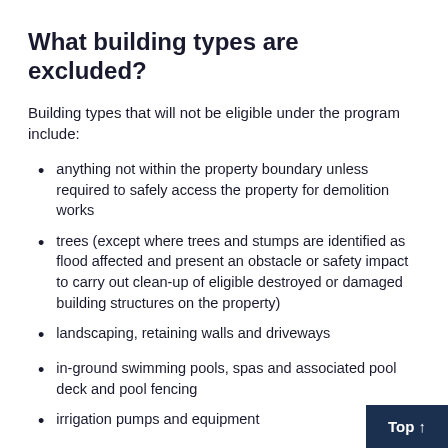What building types are excluded?
Building types that will not be eligible under the program include:
anything not within the property boundary unless required to safely access the property for demolition works
trees (except where trees and stumps are identified as flood affected and present an obstacle or safety impact to carry out clean-up of eligible destroyed or damaged building structures on the property)
landscaping, retaining walls and driveways
in-ground swimming pools, spas and associated pool deck and pool fencing
irrigation pumps and equipment